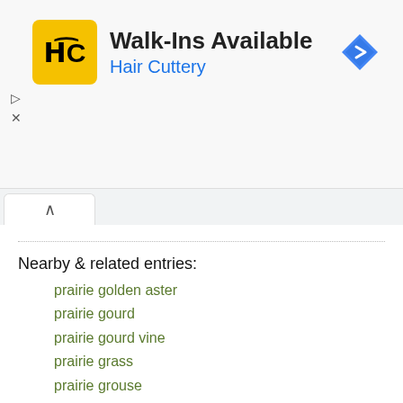[Figure (other): Hair Cuttery advertisement banner with logo, 'Walk-Ins Available' title, blue navigation arrow icon, and ad controls]
Nearby & related entries:
prairie golden aster
prairie gourd
prairie gourd vine
prairie grass
prairie grouse
prairie mallow
prairie marmot
prairie mimosa